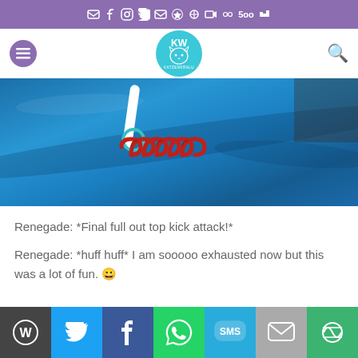Social media icon bar (email, facebook, instagram, twitter, email, pinterest, rss, linkedin, youtube, 500px, vk)
[Figure (screenshot): Website navigation header with purple hamburger menu button, circular cat logo (KW Katzenkralu) in teal, and search icon on right]
[Figure (photo): Close-up photo of a red coiled rope cat toy on blue fleece fabric]
Renegade: *Final full out top kick attack!*
Renegade: *huff huff* I am sooooo exhausted now but this was a lot of fun. 😀
Share buttons: WordPress, Twitter, Facebook, WhatsApp, SMS, Email, Other